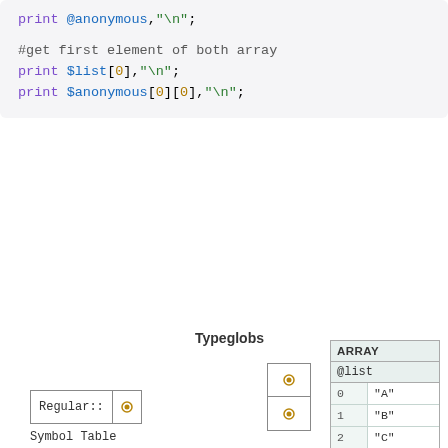[Figure (screenshot): Code block showing Perl print statements with @anonymous and array indexing]
[Figure (engineering-diagram): Diagram showing Perl symbol table typeglobs pointing to ARRAY structures. Regular:: symbol table box on left with dot, middle typeglob column with two cells (dots), Typeglobs label above. Top ARRAY table with @list header and rows 0='A', 1='B', 2='C'. Bottom Array table with rows 0='A', 1='B', 2='C'. Curved arrows connect typeglobs to arrays.]